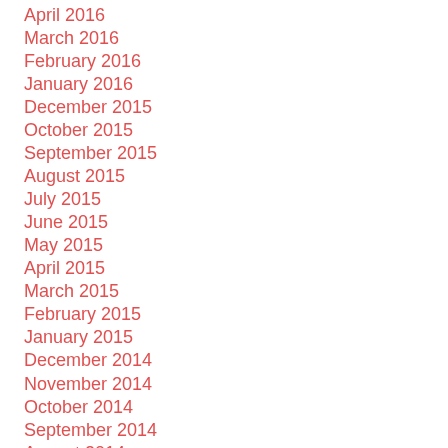April 2016
March 2016
February 2016
January 2016
December 2015
October 2015
September 2015
August 2015
July 2015
June 2015
May 2015
April 2015
March 2015
February 2015
January 2015
December 2014
November 2014
October 2014
September 2014
August 2014
July 2014